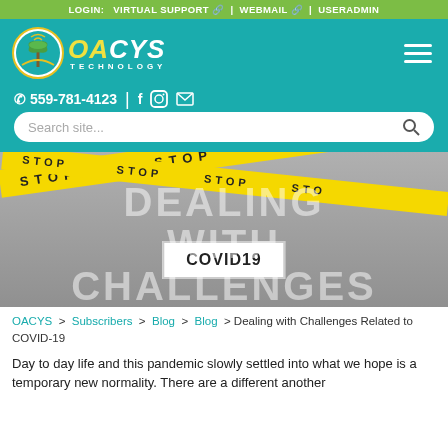LOGIN: VIRTUAL SUPPORT | WEBMAIL | USERADMIN
[Figure (logo): OACYS Technology logo with palm tree icon on teal background, hamburger menu icon on right]
☎ 559-781-4123 | f ⊙ ✉
Search site...
[Figure (photo): Person holding a COVID19 sign surrounded by yellow STOP caution tape. Overlay text reads DEALING WITH CHALLENGES]
OACYS > Subscribers > Blog > Blog > Dealing with Challenges Related to COVID-19
Day to day life and this pandemic slowly settled into what we hope is a temporary new normality. There are a different another